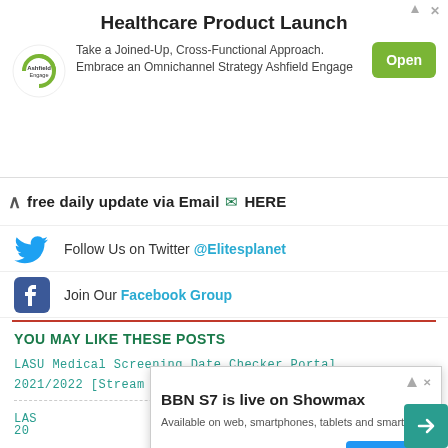[Figure (other): Ashfield Engage advertisement banner for Healthcare Product Launch with Open button]
free daily update via Email HERE
Follow Us on Twitter @Elitesplanet
Join Our Facebook Group
YOU MAY LIKE THESE POSTS
LASU Medical Screening Date Checker Portal 2021/2022 [Stream 1 & 2]
LAS... nts 20...
[Figure (other): BBN S7 is live on Showmax popup ad with Sign Up button]